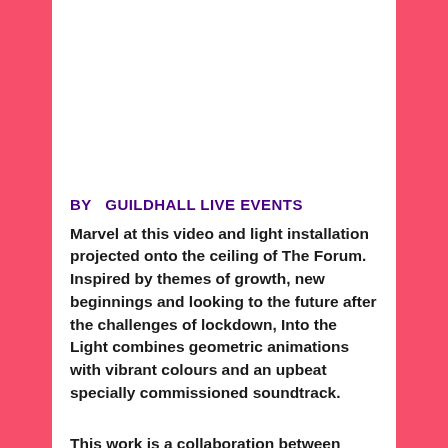BY  GUILDHALL LIVE EVENTS
Marvel at this video and light installation projected onto the ceiling of The Forum. Inspired by themes of growth, new beginnings and looking to the future after the challenges of lockdown, Into the Light combines geometric animations with vibrant colours and an upbeat specially commissioned soundtrack.
This work is a collaboration between students on the Video Design for Live Performance and Electronic & Produced Music programmes at Guildhall School of Music & Drama in London, as well as students studying Events Management and Production at City Col...